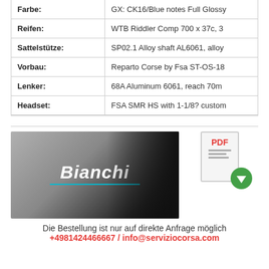| Eigenschaft | Wert |
| --- | --- |
| Farbe: | GX: CK16/Blue notes Full Glossy |
| Reifen: | WTB Riddler Comp 700 x 37c, 3 |
| Sattelstütze: | SP02.1 Alloy shaft AL6061, alloy |
| Vorbau: | Reparto Corse by Fsa ST-OS-18 |
| Lenker: | 68A Aluminum 6061, reach 70m |
| Headset: | FSA SMR HS with 1-1/8? custom |
[Figure (logo): Bianchi brand logo on dark gradient background]
[Figure (infographic): PDF download icon with red PDF label and green download arrow]
Die Bestellung ist nur auf direkte Anfrage möglich
+4981424466667 / info@serviziocorsa.com